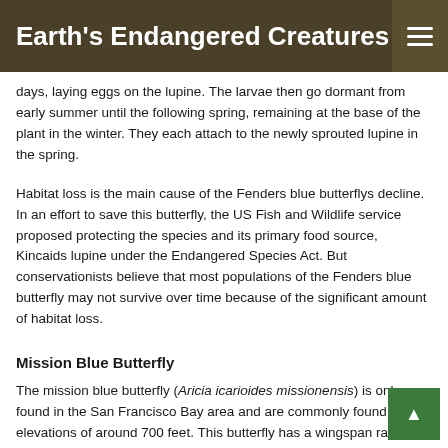Earth's Endangered Creatures
days, laying eggs on the lupine. The larvae then go dormant from early summer until the following spring, remaining at the base of the plant in the winter. They each attach to the newly sprouted lupine in the spring.
Habitat loss is the main cause of the Fenders blue butterflys decline. In an effort to save this butterfly, the US Fish and Wildlife service proposed protecting the species and its primary food source, Kincaids lupine under the Endangered Species Act. But conservationists believe that most populations of the Fenders blue butterfly may not survive over time because of the significant amount of habitat loss.
Mission Blue Butterfly
The mission blue butterfly (Aricia icarioides missionensis) is only found in the San Francisco Bay area and are commonly found at elevations of around 700 feet. This butterfly has a wingspan ranging from 1 to 1.5 inches. Males usually have a white fringe and a dark black border with silver blue to violet blue upperwings. Females have dull brown upper wings and only small traces of blue. Both sexes have ivorywite and have spots with